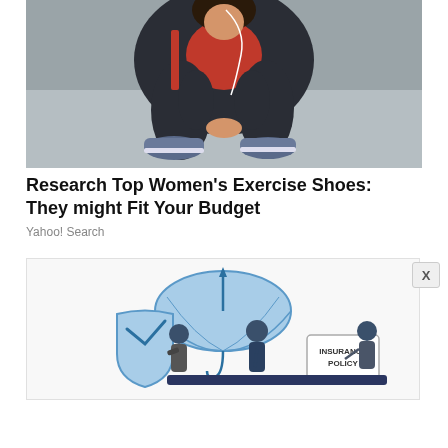[Figure (photo): Woman in athletic wear crouching down to tie her sneakers on a concrete surface, wearing earbuds and a red top with dark jacket and leggings.]
Research Top Women's Exercise Shoes: They might Fit Your Budget
Yahoo! Search
[Figure (illustration): Cartoon illustration showing insurance concept: a blue umbrella, a shield, cartoon characters, and a sign reading INSURANCE POLICY.]